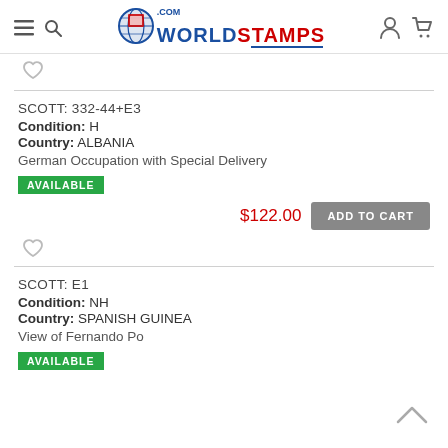WorldStamps.com
SCOTT: 332-44+E3
Condition: H
Country: ALBANIA
German Occupation with Special Delivery
AVAILABLE
$122.00 ADD TO CART
SCOTT: E1
Condition: NH
Country: SPANISH GUINEA
View of Fernando Po
AVAILABLE